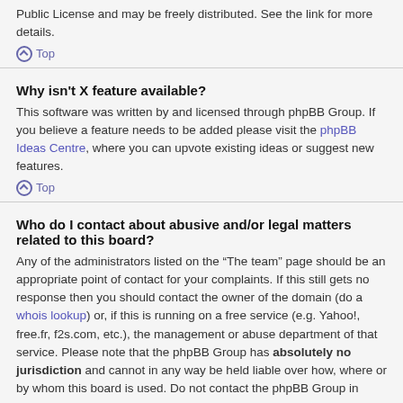Public License and may be freely distributed. See the link for more details.
Top
Why isn't X feature available?
This software was written by and licensed through phpBB Group. If you believe a feature needs to be added please visit the phpBB Ideas Centre, where you can upvote existing ideas or suggest new features.
Top
Who do I contact about abusive and/or legal matters related to this board?
Any of the administrators listed on the “The team” page should be an appropriate point of contact for your complaints. If this still gets no response then you should contact the owner of the domain (do a whois lookup) or, if this is running on a free service (e.g. Yahoo!, free.fr, f2s.com, etc.), the management or abuse department of that service. Please note that the phpBB Group has absolutely no jurisdiction and cannot in any way be held liable over how, where or by whom this board is used. Do not contact the phpBB Group in relation to any legal (cease and desist, liable, defamatory comment, etc.) matter not directly related to the phpBB.com website or the discrete software of phpBB itself. If you do e-mail phpBB Group about any third party use of this software then you should expect